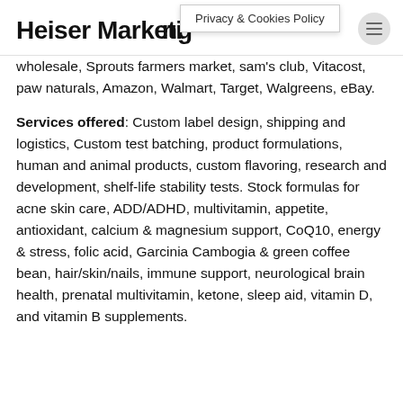Heiser Marketing
Privacy & Cookies Policy
wholesale, Sprouts farmers market, sam's club, Vitacost, paw naturals, Amazon, Walmart, Target, Walgreens, eBay.
Services offered: Custom label design, shipping and logistics, Custom test batching, product formulations, human and animal products, custom flavoring, research and development, shelf-life stability tests. Stock formulas for acne skin care, ADD/ADHD, multivitamin, appetite, antioxidant, calcium & magnesium support, CoQ10, energy & stress, folic acid, Garcinia Cambogia & green coffee bean, hair/skin/nails, immune support, neurological brain health, prenatal multivitamin, ketone, sleep aid, vitamin D, and vitamin B supplements.